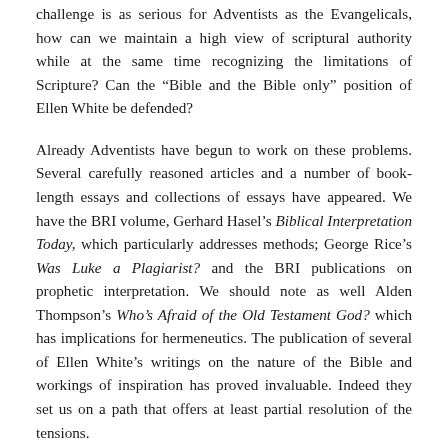challenge is as serious for Adventists as the Evangelicals, how can we maintain a high view of scriptural authority while at the same time recognizing the limitations of Scripture? Can the “Bible and the Bible only” position of Ellen White be defended?
Already Adventists have begun to work on these problems. Several carefully reasoned articles and a number of book-length essays and collections of essays have appeared. We have the BRI volume, Gerhard Hasel’s Biblical Interpretation Today, which particularly addresses methods; George Rice’s Was Luke a Plagiarist? and the BRI publications on prophetic interpretation. We should note as well Alden Thompson’s Who’s Afraid of the Old Testament God? which has implications for hermeneutics. The publication of several of Ellen White’s writings on the nature of the Bible and workings of inspiration has proved invaluable. Indeed they set us on a path that offers at least partial resolution of the tensions.
A continuing concern is the temptation to resolve the matter by some sort of compromise that will soften the firm Adventist commitment to a high view of Scripture. Aside from simply looking the other way, which is unworthy of serious Christians, at least three mediating (compromising) options have presented themselves.